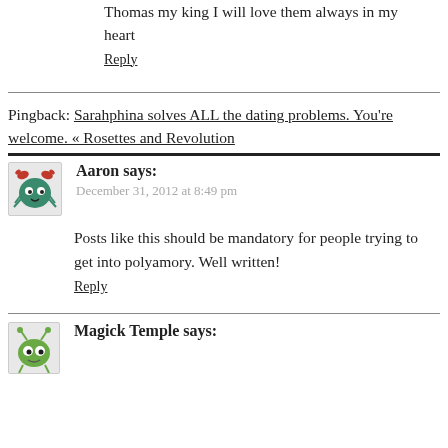Thomas my king I will love them always in my heart
Reply
Pingback: Sarahphina solves ALL the dating problems. You're welcome. « Rosettes and Revolution
Aaron says:
December 31, 2012 at 8:49 pm
Posts like this should be mandatory for people trying to get into polyamory. Well written!
Reply
Magick Temple says: